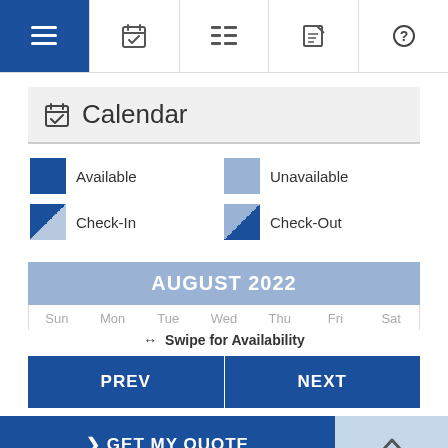[Figure (screenshot): Navigation bar with 5 icon tabs: hamburger menu (active/blue), calendar with checkmark, list, edit/pencil, help/question mark]
Calendar
Available | Unavailable | Check-In | Check-Out legend
AUGUST 2022
Sun Mon Tue Wed Thu Fri Sat
↔ Swipe for Availability
PREV
NEXT
❯ GET MY QUOTE